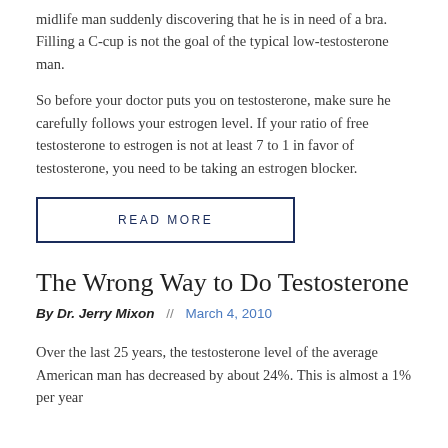midlife man suddenly discovering that he is in need of a bra. Filling a C-cup is not the goal of the typical low-testosterone man.
So before your doctor puts you on testosterone, make sure he carefully follows your estrogen level. If your ratio of free testosterone to estrogen is not at least 7 to 1 in favor of testosterone, you need to be taking an estrogen blocker.
READ MORE
The Wrong Way to Do Testosterone
By Dr. Jerry Mixon  //  March 4, 2010
Over the last 25 years, the testosterone level of the average American man has decreased by about 24%. This is almost a 1% per year